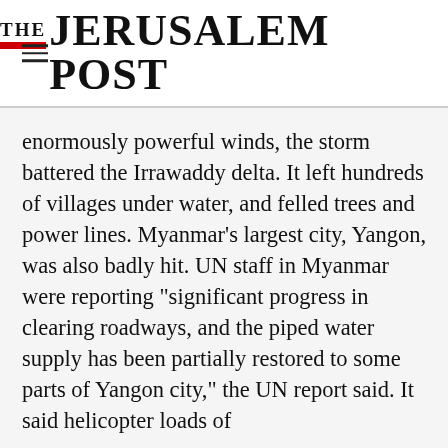THE JERUSALEM POST
enormously powerful winds, the storm battered the Irrawaddy delta. It left hundreds of villages under water, and felled trees and power lines. Myanmar's largest city, Yangon, was also badly hit. UN staff in Myanmar were reporting "significant progress in clearing roadways, and the piped water supply has been partially restored to some parts of Yangon city," the UN report said. It said helicopter loads of
Advertisement